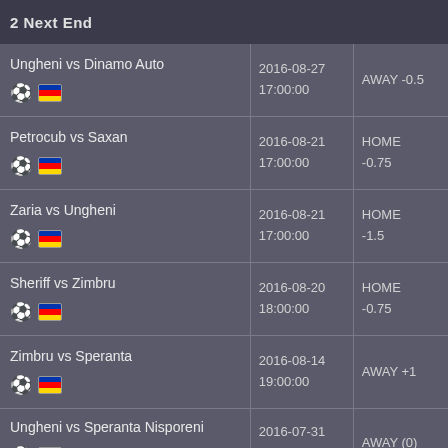2 Next End
| Match | Date/Time | Result |
| --- | --- | --- |
| Ungheni vs Dinamo Auto ⚽ 🇲🇩 | 2016-08-27
17:00:00 | AWAY -0.5 |
| Petrocub vs Saxan ⚽ 🇲🇩 | 2016-08-21
17:00:00 | HOME
-0.75 |
| Zaria vs Ungheni ⚽ 🇲🇩 | 2016-08-21
17:00:00 | HOME
-1.5 |
| Sheriff vs Zimbru ⚽ 🇲🇩 | 2016-08-20
18:00:00 | HOME
-0.75 |
| Zimbru vs Speranta ⚽ 🇲🇩 | 2016-08-14
19:00:00 | AWAY +1 |
| Ungheni vs Speranta Nisporeni ⚽ 🇲🇩 | 2016-07-31
18:00:00 | AWAY (0) |
| (partial row) | 2016-07-30 | HOME |